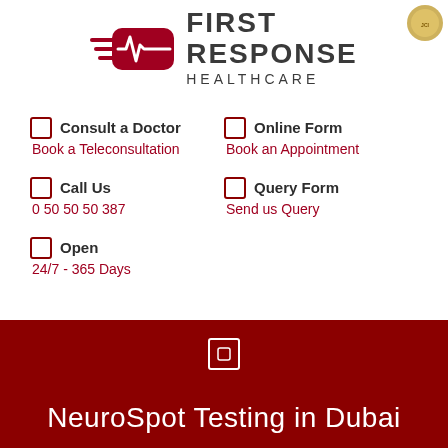[Figure (logo): First Response Healthcare logo with red heartbeat/speed lines icon and dark gray text reading FIRST RESPONSE HEALTHCARE]
Consult a Doctor — Book a Teleconsultation
Online Form — Book an Appointment
Call Us — 0 50 50 50 387
Query Form — Send us Query
Open — 24/7 - 365 Days
NeuroSpot Testing in Dubai